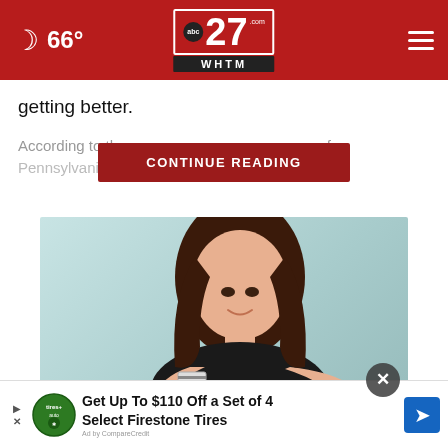66° abc27.com WHTM
getting better.
According to th... f Pennsylvania ... d 00% or
CONTINUE READING
[Figure (photo): Young woman in black top holding a credit card and pointing at it, against a light teal background]
Get Up To $110 Off a Set of 4 Select Firestone Tires
Ad by CompareCredit